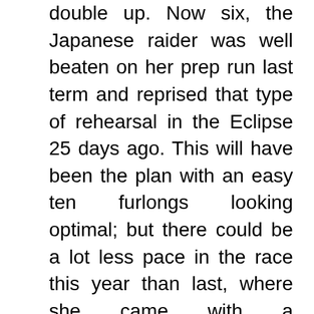double up. Now six, the Japanese raider was well beaten on her prep run last term and reprised that type of rehearsal in the Eclipse 25 days ago. This will have been the plan with an easy ten furlongs looking optimal; but there could be a lot less pace in the race this year than last, where she came with a devastating burst late on. Her form behind Magical looks pretty solid in the context of this field - in the context of most fields, in truth - and she sets a good standard.